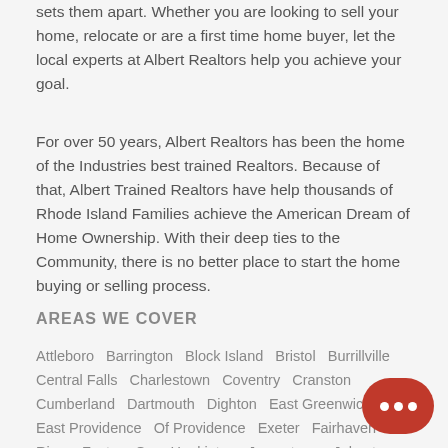sets them apart. Whether you are looking to sell your home, relocate or are a first time home buyer, let the local experts at Albert Realtors help you achieve your goal.
For over 50 years, Albert Realtors has been the home of the Industries best trained Realtors. Because of that, Albert Trained Realtors have help thousands of Rhode Island Families achieve the American Dream of Home Ownership. With their deep ties to the Community, there is no better place to start the home buying or selling process.
AREAS WE COVER
Attleboro  Barrington  Block Island  Bristol  Burrillville  Central Falls  Charlestown  Coventry  Cranston  Cumberland  Dartmouth  Dighton  East Greenwich  East Providence  Of Providence  Exeter  Fairhaven  Fall River  Foster  G...  Hopkinton  Jamestown  Johnston  Lincoln  Little Compton  Mansfield  Middletown  Narragansett  New Bedford  Newport  ...